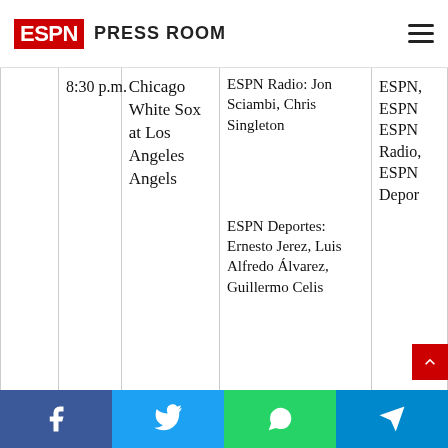ESPN Press Room
| Day | Time | Game | Talent | Network |
| --- | --- | --- | --- | --- |
|  | 8:30 p.m. | Chicago White Sox at Los Angeles Angels | ESPN Radio: Jon Sciambi, Chris Singleton
ESPN Deportes: Ernesto Jerez, Luis Alfredo Álvarez, Guillermo Celis | ESPN, ESPN ESPN Radio, ESPN Depor… |
| Mon, |  | Minnesota Twins at… | Jason Benetti… | ESPN… |